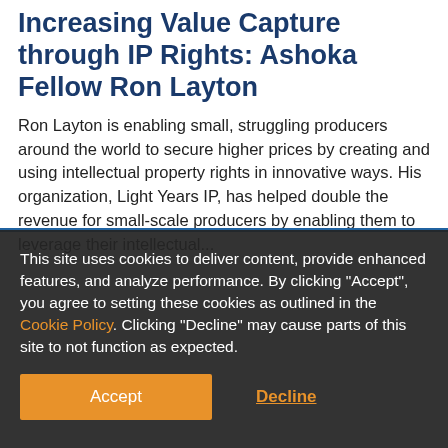Increasing Value Capture through IP Rights: Ashoka Fellow Ron Layton
Ron Layton is enabling small, struggling producers around the world to secure higher prices by creating and using intellectual property rights in innovative ways. His organization, Light Years IP, has helped double the revenue for small-scale producers by enabling them to leverage their intellectual...
This site uses cookies to deliver content, provide enhanced features, and analyze performance. By clicking "Accept", you agree to setting these cookies as outlined in the Cookie Policy. Clicking "Decline" may cause parts of this site to not function as expected.